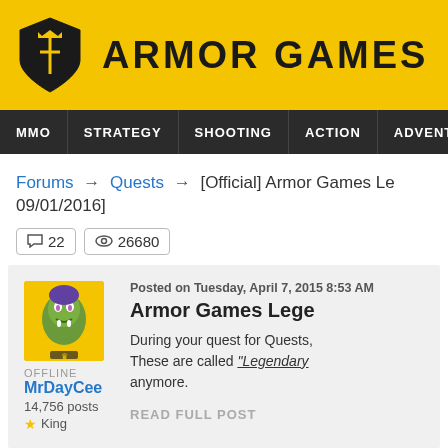[Figure (logo): Armor Games logo with shield icon and site name]
MMO | STRATEGY | SHOOTING | ACTION | ADVENTURE | P
Forums → Quests → [Official] Armor Games Le 09/01/2016]
22 comments  26680 views
OFFLINE
MrDayCee
14,756 posts
★ King

Posted on Tuesday, April 7, 2015 8:53 AM
Armor Games Lege
During your quest for Quests, These are called "Legendary anymore.

READ FULL POST
22 REPLIES